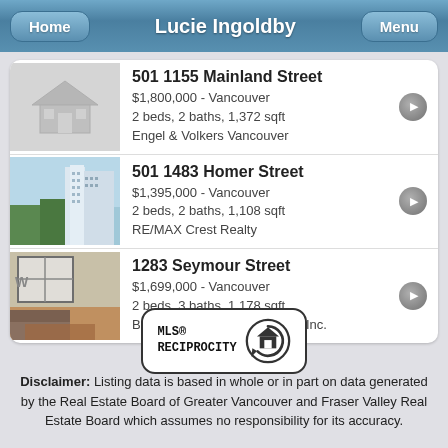Lucie Ingoldby
501 1155 Mainland Street
$1,800,000 - Vancouver
2 beds, 2 baths, 1,372 sqft
Engel & Volkers Vancouver
501 1483 Homer Street
$1,395,000 - Vancouver
2 beds, 2 baths, 1,108 sqft
RE/MAX Crest Realty
1283 Seymour Street
$1,699,000 - Vancouver
2 beds, 3 baths, 1,178 sqft
Blue West Realty (Coquitlam) Inc.
[Figure (logo): MLS Reciprocity logo with circular house icon]
Disclaimer: Listing data is based in whole or in part on data generated by the Real Estate Board of Greater Vancouver and Fraser Valley Real Estate Board which assumes no responsibility for its accuracy.